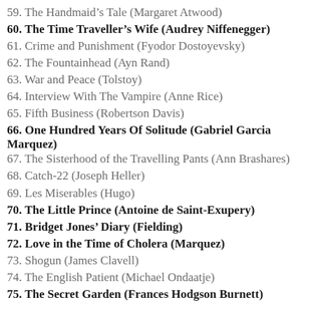59. The Handmaid's Tale (Margaret Atwood)
60. The Time Traveller's Wife (Audrey Niffenegger)
61. Crime and Punishment (Fyodor Dostoyevsky)
62. The Fountainhead (Ayn Rand)
63. War and Peace (Tolstoy)
64. Interview With The Vampire (Anne Rice)
65. Fifth Business (Robertson Davis)
66. One Hundred Years Of Solitude (Gabriel Garcia Marquez)
67. The Sisterhood of the Travelling Pants (Ann Brashares)
68. Catch-22 (Joseph Heller)
69. Les Miserables (Hugo)
70. The Little Prince (Antoine de Saint-Exupery)
71. Bridget Jones' Diary (Fielding)
72. Love in the Time of Cholera (Marquez)
73. Shogun (James Clavell)
74. The English Patient (Michael Ondaatje)
75. The Secret Garden (Frances Hodgson Burnett)